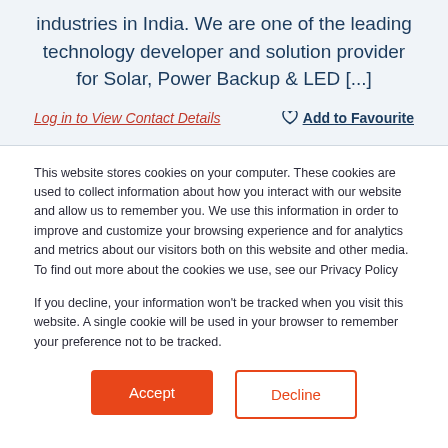industries in India. We are one of the leading technology developer and solution provider for Solar, Power Backup & LED [...]
Log in to View Contact Details
Add to Favourite
This website stores cookies on your computer. These cookies are used to collect information about how you interact with our website and allow us to remember you. We use this information in order to improve and customize your browsing experience and for analytics and metrics about our visitors both on this website and other media. To find out more about the cookies we use, see our Privacy Policy
If you decline, your information won't be tracked when you visit this website. A single cookie will be used in your browser to remember your preference not to be tracked.
Accept
Decline